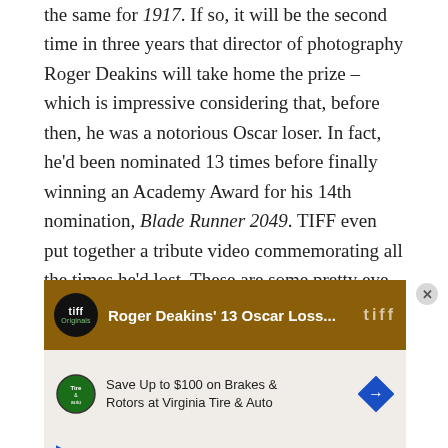the same for 1917. If so, it will be the second time in three years that director of photography Roger Deakins will take home the prize – which is impressive considering that, before then, he was a notorious Oscar loser. In fact, he'd been nominated 13 times before finally winning an Academy Award for his 14th nomination, Blade Runner 2049. TIFF even put together a tribute video commemorating all the times he'd lost. These are some pretty eye-popping films:
[Figure (screenshot): TIFF Originals video thumbnail showing 'Roger Deakins' 13 Oscar Loss...' with TIFF logo and brown background, overlaid with an advertisement for Virginia Tire & Auto with close button]